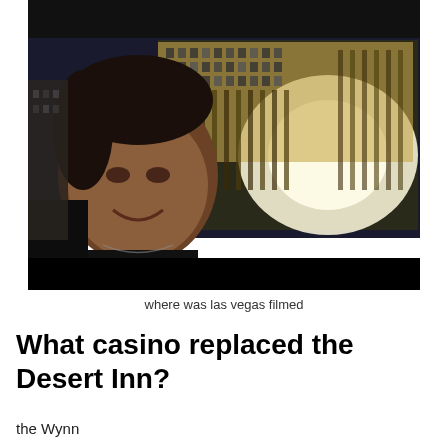[Figure (photo): A man smiling outdoors at night in front of a large illuminated casino building (appears to be the Bellagio in Las Vegas). The man is in the foreground with short dark hair and a dark jacket. The casino building with many lit windows is in the background. The image has black bars at top and bottom.]
where was las vegas filmed
What casino replaced the Desert Inn?
the Wynn